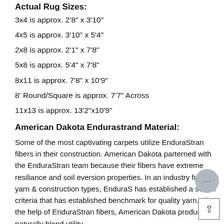Actual Rug Sizes:
3x4 is approx. 2'8" x 3'10"
4x5 is approx. 3'10" x 5'4"
2x8 is approx. 2'1" x 7'8"
5x8 is approx. 5'4" x 7'8"
8x11 is approx. 7'8" x 10'9"
8' Round/Square is approx. 7'7" Across
11x13 is approx. 13'2"x10'9"
American Dakota Endurastrand Material:
Some of the most captivating carpets utilize EnduraStran fibers in their construction. American Dakota parterned with the EnduraStran team because their fibers have extreme resiliance and soil eversion properties. In an industry full of yarn & construction types, EnduraS has established a setr of criteria that has established benchmark for quality yarn. The the help of EnduraStran fibers, American Dakota products naturally blend utility